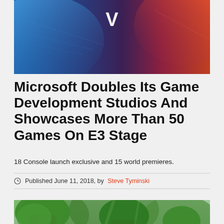[Figure (photo): Hero banner image with dramatic sci-fi lighting — blue on the left, red/orange on the right, with a large white V letter/logo in the upper center area.]
Microsoft Doubles Its Game Development Studios And Showcases More Than 50 Games On E3 Stage
18 Console launch exclusive and 15 world premieres.
Published June 11, 2018, by Steve Tyminski
[Figure (photo): Screenshot of a video game set in a lush green forest with large trees, featuring what appears to be animals including a reddish-brown creature near the base of the trees.]